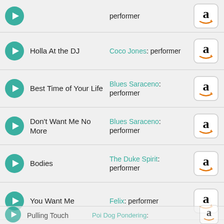performer (top, cropped)
Holla At the DJ — Coco Jones: performer
Best Time of Your Life — Blues Saraceno: performer
Don't Want Me No More — Blues Saraceno: performer
Bodies — The Duke Spirit: performer
You Want Me — Felix: performer
Yellow — Teeth: performer
[partially visible row behind banner]
Pulling Touch — Poi Dog Pondering: [performer]
By closing this message, you consent to our cookies on this device in accordance with our cookie policy unless you have disabled them - Cookie policy